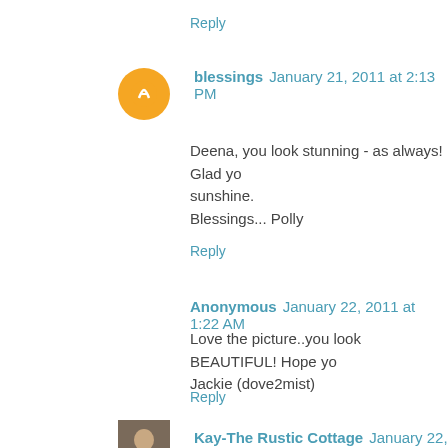Reply
blessings January 21, 2011 at 2:13 PM
Deena, you look stunning - as always! Glad yo sunshine.

Blessings... Polly
Reply
Anonymous January 22, 2011 at 1:22 AM
Love the picture..you look BEAUTIFUL! Hope yo Jackie (dove2mist)
Reply
Kay-The Rustic Cottage January 22, 2011 at 1: